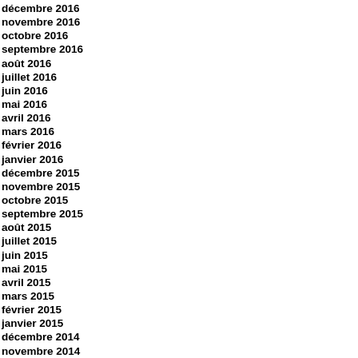décembre 2016
novembre 2016
octobre 2016
septembre 2016
août 2016
juillet 2016
juin 2016
mai 2016
avril 2016
mars 2016
février 2016
janvier 2016
décembre 2015
novembre 2015
octobre 2015
septembre 2015
août 2015
juillet 2015
juin 2015
mai 2015
avril 2015
mars 2015
février 2015
janvier 2015
décembre 2014
novembre 2014
octobre 2014